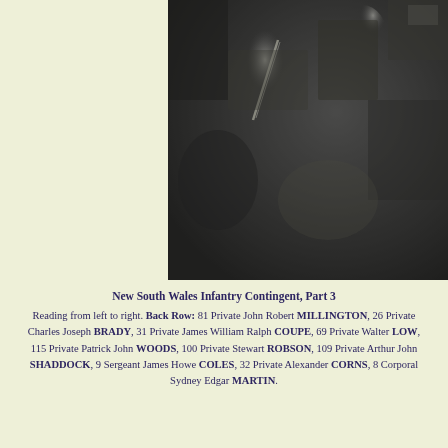[Figure (photo): A grayscale historical photograph showing soldiers, cropped to show the upper right portion. Dark textured background with some light reflections visible.]
New South Wales Infantry Contingent, Part 3
Reading from left to right. Back Row: 81 Private John Robert MILLINGTON, 26 Private Charles Joseph BRADY, 31 Private James William Ralph COUPE, 69 Private Walter LOW, 115 Private Patrick John WOODS, 100 Private Stewart ROBSON, 109 Private Arthur John SHADDOCK, 9 Sergeant James Howe COLES, 32 Private Alexander CORNS, 8 Corporal Sydney Edgar MARTIN.